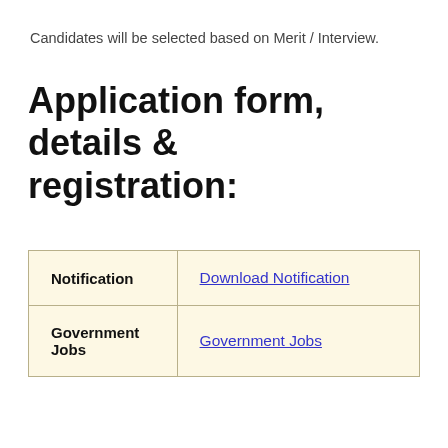Candidates will be selected based on Merit / Interview.
Application form, details & registration:
|  |  |
| --- | --- |
| Notification | Download Notification |
| Government Jobs | Government Jobs |